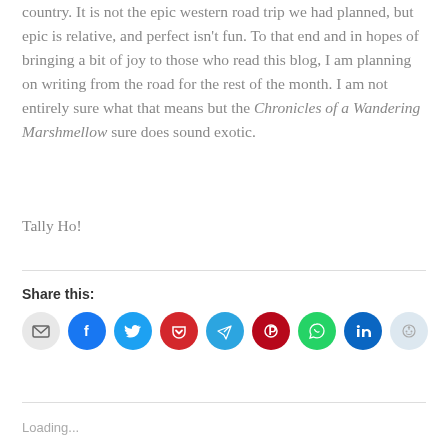country. It is not the epic western road trip we had planned, but epic is relative, and perfect isn't fun. To that end and in hopes of bringing a bit of joy to those who read this blog, I am planning on writing from the road for the rest of the month. I am not entirely sure what that means but the Chronicles of a Wandering Marshmellow sure does sound exotic.
Tally Ho!
Share this:
[Figure (other): Row of social share icon buttons: email, Facebook, Twitter, Pocket, Telegram, Pinterest, WhatsApp, LinkedIn, Reddit]
Loading...